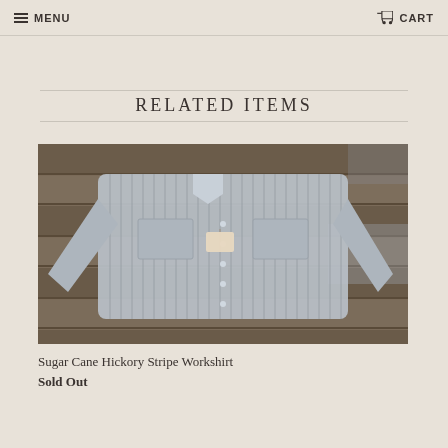MENU   CART
RELATED ITEMS
[Figure (photo): A striped hickory work shirt with two chest pockets and snap buttons, laid flat on a rustic wooden surface. The shirt has a small tag attached.]
Sugar Cane Hickory Stripe Workshirt
Sold Out